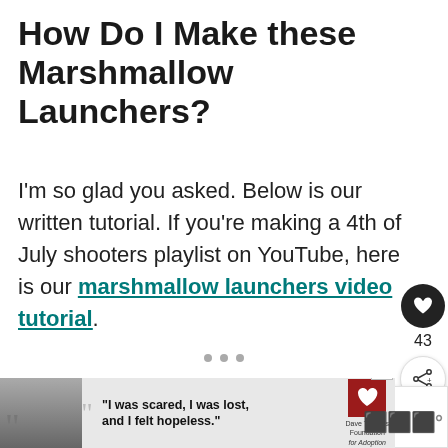How Do I Make these Marshmallow Launchers?
I'm so glad you asked. Below is our written tutorial. If you're making a 4th of July shooters playlist on YouTube, here is our marshmallow launchers video tutorial.
[Figure (screenshot): Side UI buttons: heart/like button (dark circle), count label '43', share button (circle with share icon)]
[Figure (screenshot): What's Next panel showing thumbnail with colorful image and text 'These Marshmallo...']
[Figure (screenshot): Advertisement banner: Dave Thomas Foundation for Adoption with quote 'I was scared, I was lost, and I felt hopeless.' and a close button X]